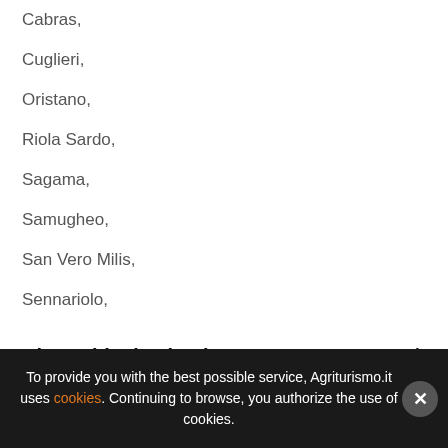Cabras,
Cuglieri,
Oristano,
Riola Sardo,
Sagama,
Samugheo,
San Vero Milis,
Sennariolo,
About this destination
Agriturismo Oristano: quality vacation
Spending your vacation in an Agriturismo in Oristano means
To provide you with the best possible service, Agriturismo.it uses cookies. Continuing to browse, you authorize the use of cookies.